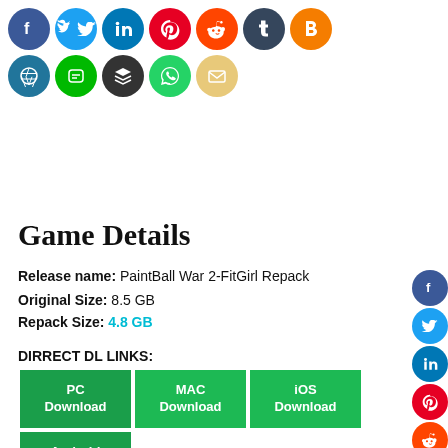[Figure (illustration): Row of social media share icon circles: Facebook, Twitter, LinkedIn, Pinterest, Reddit, Tumblr, Blogger, WordPress, Line, Buffer/Layers, WhatsApp, Email]
Game Details
Release name: PaintBall War 2-FitGirl Repack
Original Size: 8.5 GB
Repack Size: 4.8 GB
DIRRECT DL LINKS:
[Figure (infographic): Four download buttons: PC Download, MAC Download, iOS Download, Android Download — all green rectangles with white bold text]
[Figure (illustration): Side floating social media icons: Facebook, Twitter, LinkedIn, Pinterest, Reddit, WhatsApp, Email]